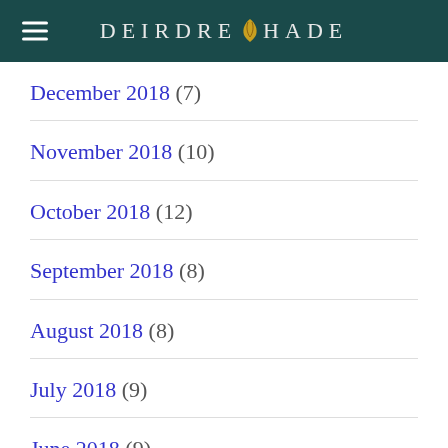DEIRDRE SHADE
December 2018 (7)
November 2018 (10)
October 2018 (12)
September 2018 (8)
August 2018 (8)
July 2018 (9)
June 2018 (9)
May 2018 (6)